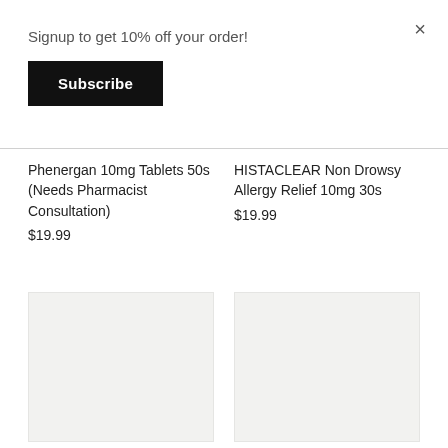Signup to get 10% off your order!
Subscribe
Phenergan 10mg Tablets 50s (Needs Pharmacist Consultation)
$19.99
HISTACLEAR Non Drowsy Allergy Relief 10mg 30s
$19.99
[Figure (photo): Product image placeholder left]
[Figure (photo): Product image placeholder right]